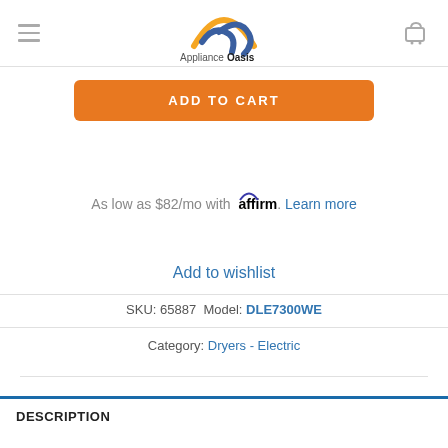ApplianceOasis (logo header with hamburger menu and cart icon)
ADD TO CART
As low as $82/mo with affirm. Learn more
Add to wishlist
SKU: 65887 Model: DLE7300WE
Category: Dryers - Electric
DESCRIPTION